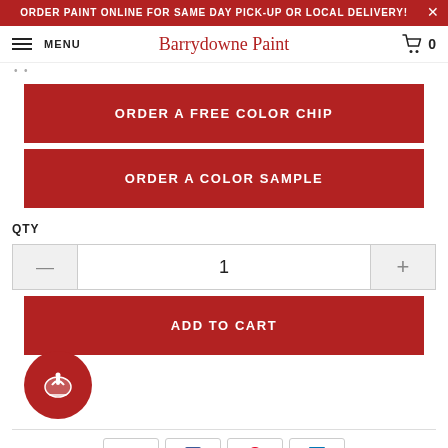ORDER PAINT ONLINE FOR SAME DAY PICK-UP OR LOCAL DELIVERY!
MENU  Barrydowne Paint  0
ORDER A FREE COLOR CHIP
ORDER A COLOR SAMPLE
QTY
1
ADD TO CART